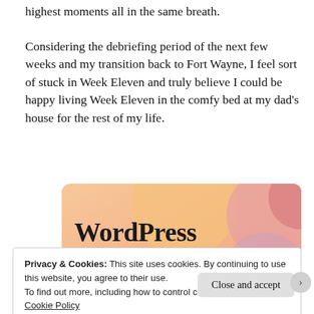highest moments all in the same breath.
Considering the debriefing period of the next few weeks and my transition back to Fort Wayne, I feel sort of stuck in Week Eleven and truly believe I could be happy living Week Eleven in the comfy bed at my dad’s house for the rest of my life.
[Figure (illustration): WordPress promotional banner with orange/peach gradient background with pink circles, bold text reading 'WordPress in the back.']
Privacy & Cookies: This site uses cookies. By continuing to use this website, you agree to their use.
To find out more, including how to control cookies, see here: Cookie Policy
Close and accept